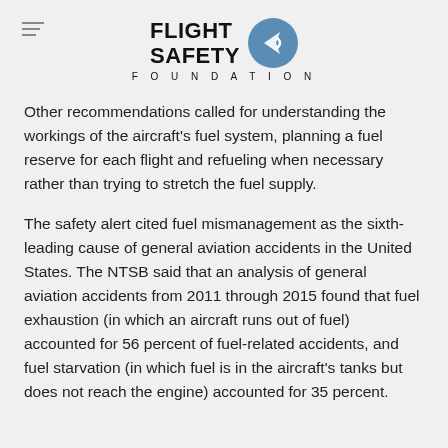FLIGHT SAFETY FOUNDATION
Other recommendations called for understanding the workings of the aircraft's fuel system, planning a fuel reserve for each flight and refueling when necessary rather than trying to stretch the fuel supply.
The safety alert cited fuel mismanagement as the sixth-leading cause of general aviation accidents in the United States. The NTSB said that an analysis of general aviation accidents from 2011 through 2015 found that fuel exhaustion (in which an aircraft runs out of fuel) accounted for 56 percent of fuel-related accidents, and fuel starvation (in which fuel is in the aircraft's tanks but does not reach the engine) accounted for 35 percent.